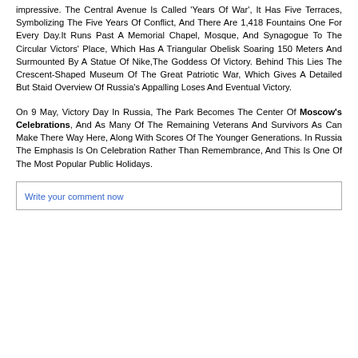impressive. The Central Avenue Is Called 'Years Of War', It Has Five Terraces, Symbolizing The Five Years Of Conflict, And There Are 1,418 Fountains One For Every Day.It Runs Past A Memorial Chapel, Mosque, And Synagogue To The Circular Victors' Place, Which Has A Triangular Obelisk Soaring 150 Meters And Surmounted By A Statue Of Nike,The Goddess Of Victory. Behind This Lies The Crescent-Shaped Museum Of The Great Patriotic War, Which Gives A Detailed But Staid Overview Of Russia's Appalling Loses And Eventual Victory.
On 9 May, Victory Day In Russia, The Park Becomes The Center Of Moscow's Celebrations, And As Many Of The Remaining Veterans And Survivors As Can Make There Way Here, Along With Scores Of The Younger Generations. In Russia The Emphasis Is On Celebration Rather Than Remembrance, And This Is One Of The Most Popular Public Holidays.
Write your comment now